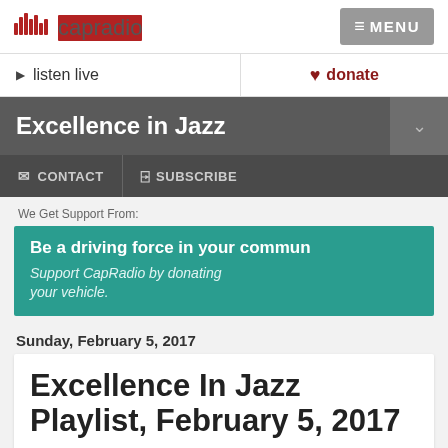capradio
listen live
donate
Excellence in Jazz
CONTACT
SUBSCRIBE
We Get Support From:
Be a driving force in your community. Support CapRadio by donating your vehicle.
Sunday, February 5, 2017
Excellence In Jazz Playlist, February 5, 2017